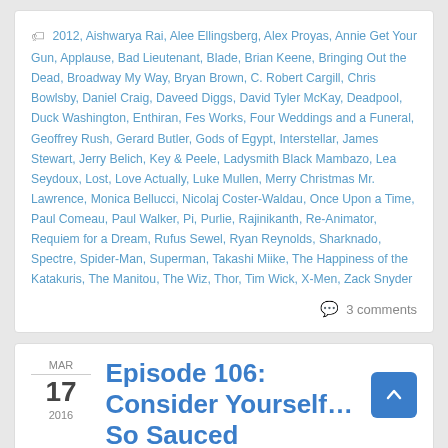2012, Aishwarya Rai, Alee Ellingsberg, Alex Proyas, Annie Get Your Gun, Applause, Bad Lieutenant, Blade, Brian Keene, Bringing Out the Dead, Broadway My Way, Bryan Brown, C. Robert Cargill, Chris Bowlsby, Daniel Craig, Daveed Diggs, David Tyler McKay, Deadpool, Duck Washington, Enthiran, Fes Works, Four Weddings and a Funeral, Geoffrey Rush, Gerard Butler, Gods of Egypt, Interstellar, James Stewart, Jerry Belich, Key & Peele, Ladysmith Black Mambazo, Lea Seydoux, Lost, Love Actually, Luke Mullen, Merry Christmas Mr. Lawrence, Monica Bellucci, Nicolaj Coster-Waldau, Once Upon a Time, Paul Comeau, Paul Walker, Pi, Purlie, Rajinikanth, Re-Animator, Requiem for a Dream, Rufus Sewel, Ryan Reynolds, Sharknado, Spectre, Spider-Man, Superman, Takashi Miike, The Happiness of the Katakuris, The Manitou, The Wiz, Thor, Tim Wick, X-Men, Zack Snyder
3 comments
Episode 106: Consider Yourself... So Sauced
By Melissa in Podcast